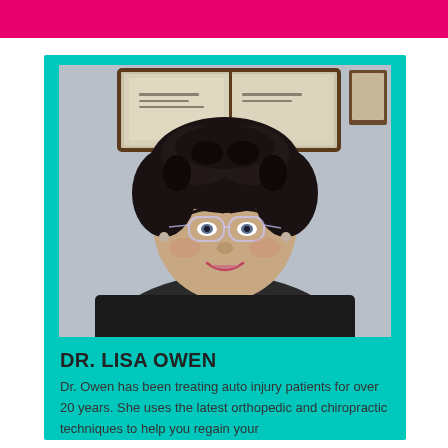[Figure (other): Pink decorative header bar at the top of the page]
[Figure (photo): Portrait photo of Dr. Lisa Owen, a middle-aged woman with curly dark hair and glasses, smiling, seated at a desk with framed certificates visible in the background]
DR. LISA OWEN
Dr. Owen has been treating auto injury patients for over 20 years. She uses the latest orthopedic and chiropractic techniques to help you regain your